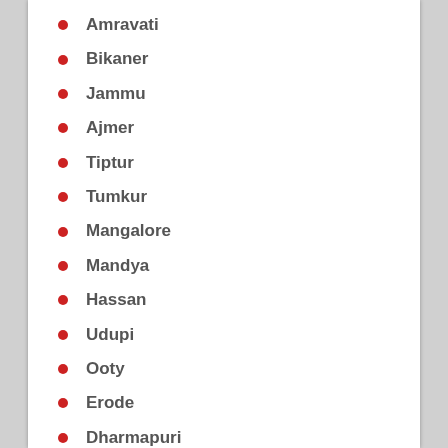Amravati
Bikaner
Jammu
Ajmer
Tiptur
Tumkur
Mangalore
Mandya
Hassan
Udupi
Ooty
Erode
Dharmapuri
Krishnagiri
Tiruvannamalai
Vellore
Ambur